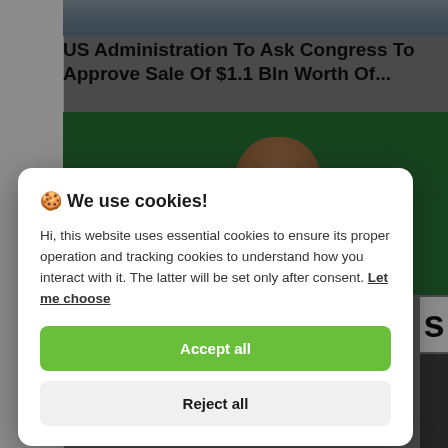[Figure (photo): Blurred building/city photo at top of news page]
US Administration To Ask Congress To Approve Sale Of $1.1 Bln Worth Of...
[Figure (photo): Person with beard against green background]
🍪 We use cookies!

Hi, this website uses essential cookies to ensure its proper operation and tracking cookies to understand how you interact with it. The latter will be set only after consent. Let me choose
Accept all
Reject all